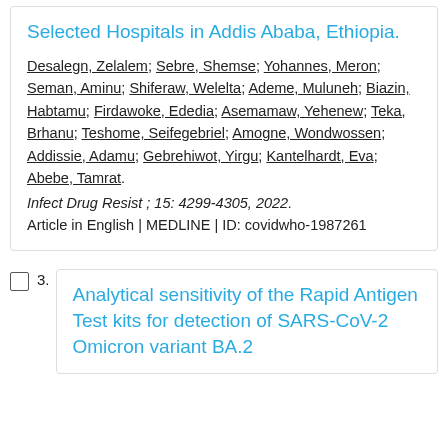Selected Hospitals in Addis Ababa, Ethiopia.
Desalegn, Zelalem; Sebre, Shemse; Yohannes, Meron; Seman, Aminu; Shiferaw, Welelta; Ademe, Muluneh; Biazin, Habtamu; Firdawoke, Ededia; Asemamaw, Yehenew; Teka, Brhanu; Teshome, Seifegebriel; Amogne, Wondwossen; Addissie, Adamu; Gebrehiwot, Yirgu; Kantelhardt, Eva; Abebe, Tamrat.
Infect Drug Resist ; 15: 4299-4305, 2022.
Article in English | MEDLINE | ID: covidwho-1987261
Analytical sensitivity of the Rapid Antigen Test kits for detection of SARS-CoV-2 Omicron variant BA.2